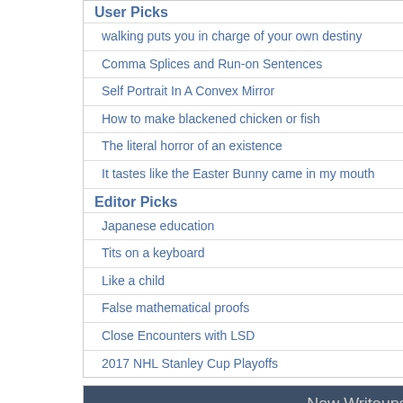User Picks
walking puts you in charge of your own destiny
Comma Splices and Run-on Sentences
Self Portrait In A Convex Mirror
How to make blackened chicken or fish
The literal horror of an existence
It tastes like the Easter Bunny came in my mouth
Editor Picks
Japanese education
Tits on a keyboard
Like a child
False mathematical proofs
Close Encounters with LSD
2017 NHL Stanley Cup Playoffs
New Writeups
close
(poetry) by lostcauser
The literal horror of an existence
(personal) by losthuskie
The Wind-Up Club
(fiction) by lostcauser
August 23, 2022
(personal) by wertperch